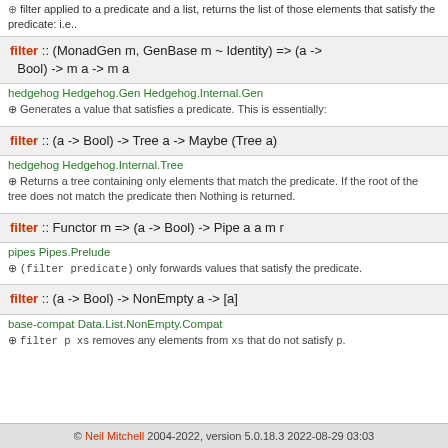filter applied to a predicate and a list, returns the list of those elements that satisfy the predicate: i.e..
filter :: (MonadGen m, GenBase m ~ Identity) => (a -> Bool) -> m a -> m a
hedgehog Hedgehog.Gen Hedgehog.Internal.Gen
⊕ Generates a value that satisfies a predicate. This is essentially:
filter :: (a -> Bool) -> Tree a -> Maybe (Tree a)
hedgehog Hedgehog.Internal.Tree
⊕ Returns a tree containing only elements that match the predicate. If the root of the tree does not match the predicate then Nothing is returned.
filter :: Functor m => (a -> Bool) -> Pipe a a m r
pipes Pipes.Prelude
⊕ (filter predicate) only forwards values that satisfy the predicate.
filter :: (a -> Bool) -> NonEmpty a -> [a]
base-compat Data.List.NonEmpty.Compat
⊕ filter p xs removes any elements from xs that do not satisfy p.
© Neil Mitchell 2004-2022, version 5.0.18.3 2022-08-29 03:03